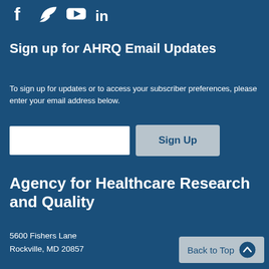[Figure (illustration): Social media icons: Facebook (f), Twitter (bird), YouTube (play button), LinkedIn (in) displayed in white on dark blue background]
Sign up for AHRQ Email Updates
To sign up for updates or to access your subscriber preferences, please enter your email address below.
[Figure (other): Email input field (white rectangle) and Sign Up button (light gray with dark blue text)]
Agency for Healthcare Research and Quality
5600 Fishers Lane
Rockville, MD 20857
Back to Top